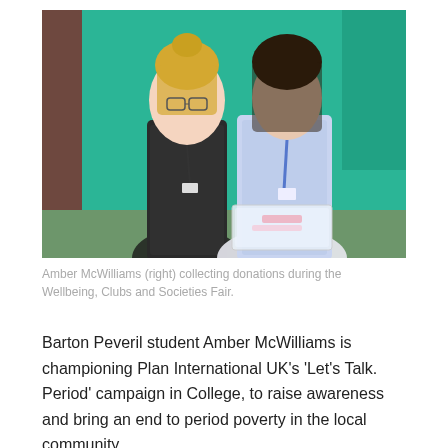[Figure (photo): Two young women standing in front of a green painted brick wall. The woman on the left has blonde hair pulled up, glasses, and is wearing a black and white patterned off-shoulder top with a lanyard. The woman on the right has dark hair, is wearing a blue and white patterned jacket with a lanyard, and is holding a clear plastic collection box.]
Amber McWilliams (right) collecting donations during the Wellbeing, Clubs and Societies Fair.
Barton Peveril student Amber McWilliams is championing Plan International UK's 'Let's Talk. Period' campaign in College, to raise awareness and bring an end to period poverty in the local community.